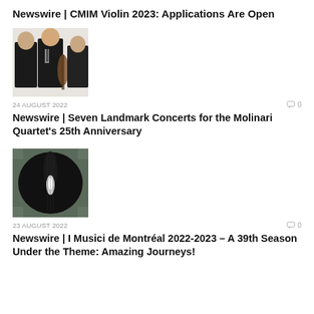Newswire | CMIM Violin 2023: Applications Are Open
[Figure (photo): Three musicians in formal black attire, one holding a cello, posed for a group photo]
24 AUGUST 2022
Newswire | Seven Landmark Concerts for the Molinari Quartet’s 25th Anniversary
[Figure (photo): Close-up of a violin or string instrument scroll/pegbox against a dark background with a small light reflection]
23 AUGUST 2022
Newswire | I Musici de Montréal 2022-2023 – A 39th Season Under the Theme: Amazing Journeys!